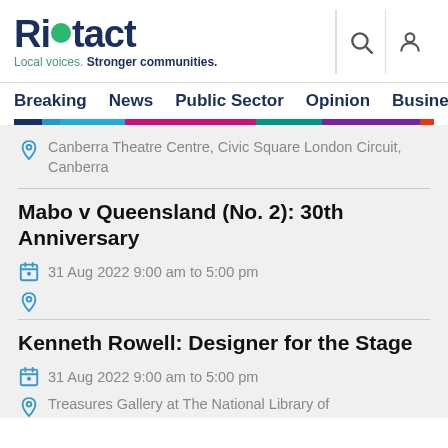[Figure (logo): Riotact logo with tagline 'Local voices. Stronger communities.']
Breaking  News  Public Sector  Opinion  Business
Canberra Theatre Centre, Civic Square London Circuit, Canberra
Mabo v Queensland (No. 2): 30th Anniversary
31 Aug 2022 9:00 am to 5:00 pm
Kenneth Rowell: Designer for the Stage
31 Aug 2022 9:00 am to 5:00 pm
Treasures Gallery at The National Library of